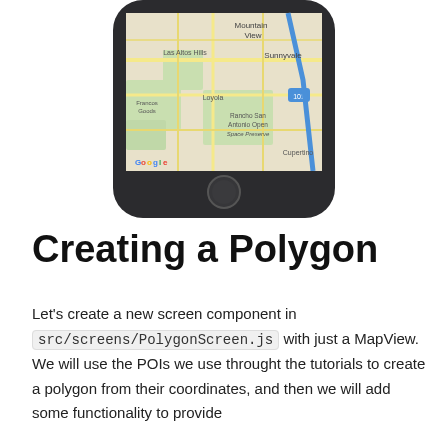[Figure (screenshot): Bottom portion of an iPhone showing a Google Maps view of Mountain View, Sunnyvale, Cupertino area (Silicon Valley), with the phone home button visible at the bottom.]
Creating a Polygon
Let's create a new screen component in src/screens/PolygonScreen.js with just a MapView. We will use the POIs we use throught the tutorials to create a polygon from their coordinates, and then we will add some functionality to provide